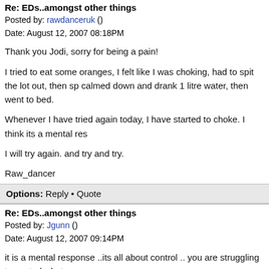Re: EDs..amongst other things
Posted by: rawdanceruk ()
Date: August 12, 2007 08:18PM
Thank you Jodi, sorry for being a pain!

I tried to eat some oranges, I felt like I was choking, had to spit the lot out, then sp calmed down and drank 1 litre water, then went to bed.

Whenever I have tried again today, I have started to choke. I think its a mental res

I will try again. and try and try.

Raw_dancer
Options:  Reply • Quote
Re: EDs..amongst other things
Posted by: Jgunn ()
Date: August 12, 2007 09:14PM
it is a mental response ..its all about control .. you are struggling to control what y

you are allowing yourself to be repulsed by what you give yourself

again you are not a pain hun :) you need to find what is easy for you right now melons

what are you afraid of ? are you scared you wont look perfect for the people you c how hard you try there will always be someone that can point out something thats arent we? lol